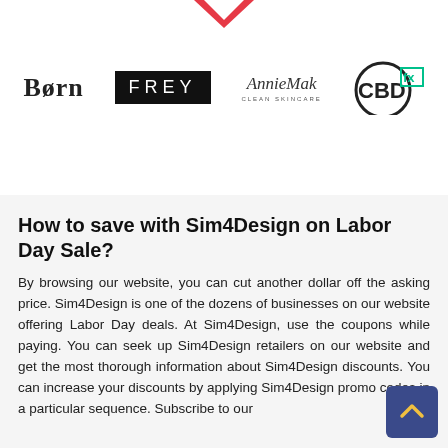[Figure (logo): Partial downward-pointing arrow/chevron logo at top center]
[Figure (logo): Four brand logos in a row: Born, FREY, AnnieMak Clean Skincare, CBDfx]
How to save with Sim4Design on Labor Day Sale?
By browsing our website, you can cut another dollar off the asking price. Sim4Design is one of the dozens of businesses on our website offering Labor Day deals. At Sim4Design, use the coupons while paying. You can seek up Sim4Design retailers on our website and get the most thorough information about Sim4Design discounts. You can increase your discounts by applying Sim4Design promo codes in a particular sequence. Subscribe to our